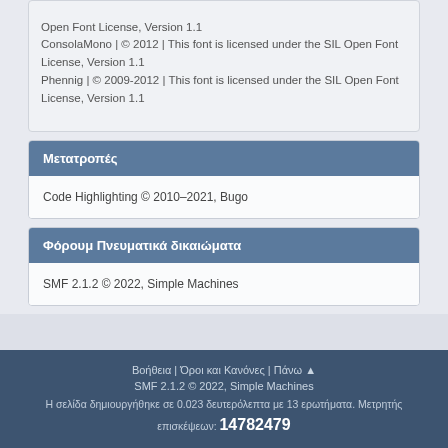Open Font License, Version 1.1
ConsolaMono | © 2012 | This font is licensed under the SIL Open Font License, Version 1.1
Phennig | © 2009-2012 | This font is licensed under the SIL Open Font License, Version 1.1
Μετατροπές
Code Highlighting © 2010–2021, Bugo
Φόρουμ Πνευματικά δικαιώματα
SMF 2.1.2 © 2022, Simple Machines
Βοήθεια | Όροι και Κανόνες | Πάνω ▲
SMF 2.1.2 © 2022, Simple Machines
Η σελίδα δημιουργήθηκε σε 0.023 δευτερόλεπτα με 13 ερωτήματα. Μετρητής επισκέψεων: 14782479